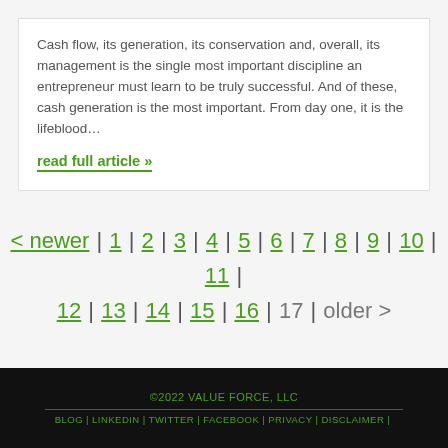Cash flow, its generation, its conservation and, overall, its management is the single most important discipline an entrepreneur must learn to be truly successful. And of these, cash generation is the most important. From day one, it is the lifeblood…
read full article »
< newer | 1 | 2 | 3 | 4 | 5 | 6 | 7 | 8 | 9 | 10 | 11 | 12 | 13 | 14 | 15 | 16 | 17 | older >
©2022 VALUE FORCE, LLC
BLOG | LINKEDIN | TWITTER | FACEBOOK | PRIVACY | DISCLAIMER |